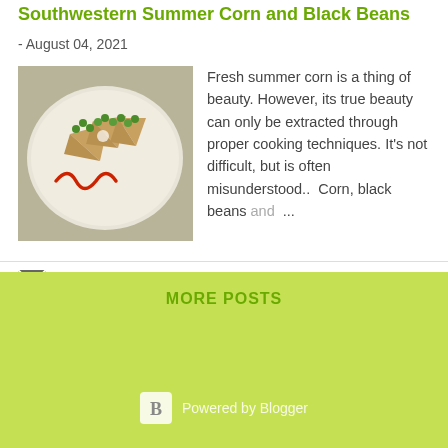Southwestern Summer Corn and Black Beans
- August 04, 2021
[Figure (photo): Plated dish with corn and black bean filled pastry pieces garnished with green peas and red sauce swirls on a white plate]
Fresh summer corn is a thing of beauty. However, its true beauty can only be extracted through proper cooking techniques. It's not difficult, but is often misunderstood..  Corn, black beans and ...
READ MORE
MORE POSTS
Powered by Blogger